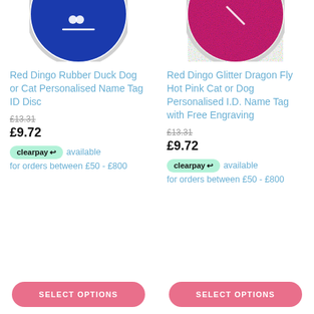[Figure (photo): Blue circular pet ID tag disc, partially cropped at top]
Red Dingo Rubber Duck Dog or Cat Personalised Name Tag ID Disc
£13.31 (strikethrough)
£9.72
clearpay available for orders between £50 - £800
[Figure (photo): Hot pink glitter circular pet ID tag disc, partially cropped at top]
Red Dingo Glitter Dragon Fly Hot Pink Cat or Dog Personalised I.D. Name Tag with Free Engraving
£13.31 (strikethrough)
£9.72
clearpay available for orders between £50 - £800
SELECT OPTIONS
SELECT OPTIONS